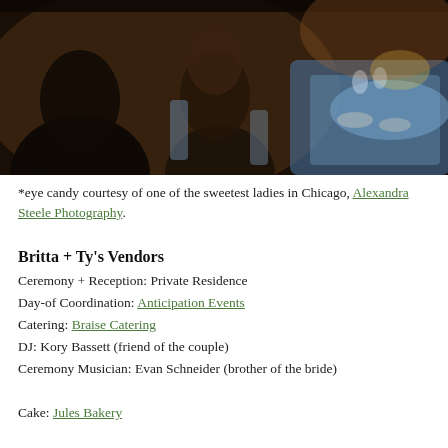[Figure (photo): Wedding reception photo showing guests seated at tables with blue tablecloths in a dimly lit venue]
*eye candy courtesy of one of the sweetest ladies in Chicago, Alexandra Steele Photography.
Britta + Ty's Vendors
Ceremony + Reception: Private Residence
Day-of Coordination: Anticipation Events
Catering: Braise Catering
DJ: Kory Bassett (friend of the couple)
Ceremony Musician: Evan Schneider (brother of the bride)
Cake: Jules Bakery